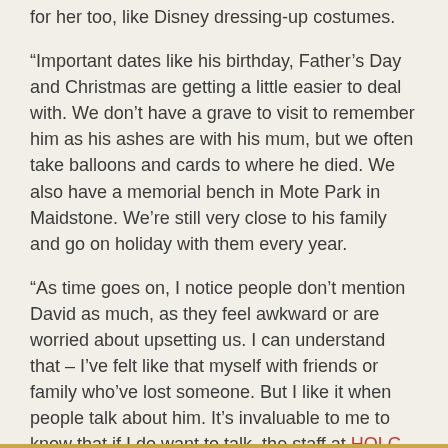for her too, like Disney dressing-up costumes.
“Important dates like his birthday, Father’s Day and Christmas are getting a little easier to deal with. We don’t have a grave to visit to remember him as his ashes are with his mum, but we often take balloons and cards to where he died. We also have a memorial bench in Mote Park in Maidstone. We’re still very close to his family and go on holiday with them every year.
“As time goes on, I notice people don’t mention David as much, as they feel awkward or are worried about upsetting us. I can understand that – I’ve felt like that myself with friends or family who’ve lost someone. But I like it when people talk about him. It’s invaluable to me to know that if I do want to talk, the staff at HOLG are always available and happy to listen.”